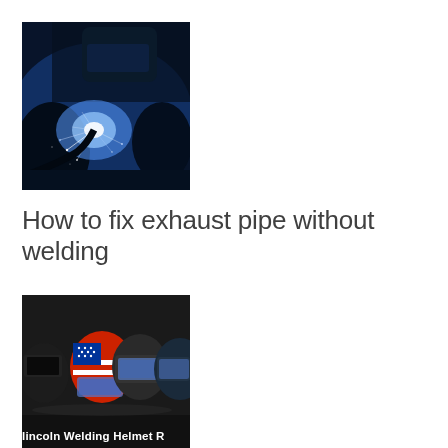[Figure (photo): A welder working with bright blue arc welding sparks and light, person wearing welding helmet, dark background with blue electric light]
How to fix exhaust pipe without welding
[Figure (photo): A dark background image showing multiple welding helmets in a row including American flag patterned helmet and standard helmets, with text 'Lincoln Welding Helmet R' visible at bottom]